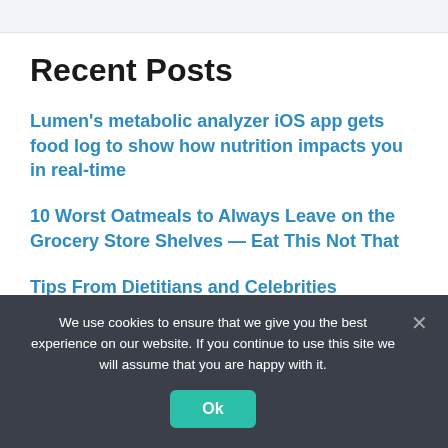Recent Posts
Lumen's metabolic analyzer iOS app gets food log to show how nutrition impacts you in real-time
10 Worst Oatmeals to Always Leave on the Grocery Store Shelves — Eat This Not That
Tips From Dietitians and Celebrities
How to Give Up Eating Meat
We use cookies to ensure that we give you the best experience on our website. If you continue to use this site we will assume that you are happy with it.